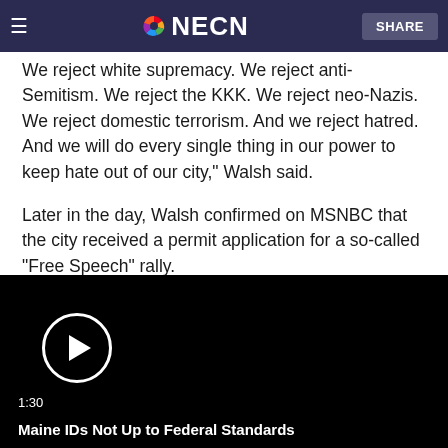≡ NBC NECN SHARE
We reject white supremacy. We reject anti-Semitism. We reject the KKK. We reject neo-Nazis. We reject domestic terrorism. And we reject hatred. And we will do every single thing in our power to keep hate out of our city," Walsh said.
Later in the day, Walsh confirmed on MSNBC that the city received a permit application for a so-called "Free Speech" rally.
[Figure (screenshot): Embedded video player with black background, white play button circle, timestamp 1:30, and title 'Maine IDs Not Up to Federal Standards']